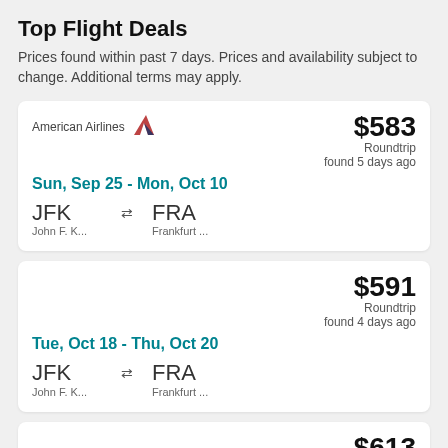Top Flight Deals
Prices found within past 7 days. Prices and availability subject to change. Additional terms may apply.
| Airline | Price | Trip Type | Found | Dates | From | To |
| --- | --- | --- | --- | --- | --- | --- |
| American Airlines | $583 | Roundtrip | found 5 days ago | Sun, Sep 25 - Mon, Oct 10 | JFK John F. K... | FRA Frankfurt ... |
|  | $591 | Roundtrip | found 4 days ago | Tue, Oct 18 - Thu, Oct 20 | JFK John F. K... | FRA Frankfurt ... |
|  | $613 | Roundtrip |  |  |  |  |